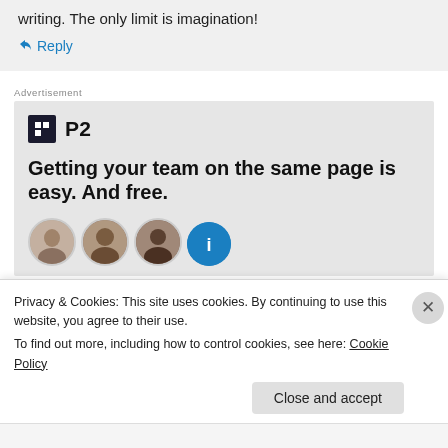writing. The only limit is imagination!
↳ Reply
Advertisement
[Figure (logo): P2 logo with dark square icon containing a grid/table symbol and bold 'P2' text]
Getting your team on the same page is easy. And free.
[Figure (photo): Row of circular avatar photos of team members, with a blue circle avatar at the end]
Privacy & Cookies: This site uses cookies. By continuing to use this website, you agree to their use.
To find out more, including how to control cookies, see here: Cookie Policy
Close and accept